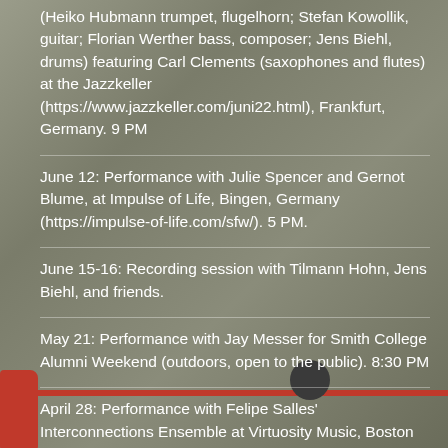(Heiko Hubmann trumpet, flugelhorn; Stefan Kowollik, guitar; Florian Werther bass, composer; Jens Biehl, drums) featuring Carl Clements (saxophones and flutes) at the Jazzkeller (https://www.jazzkeller.com/juni22.html), Frankfurt, Germany. 9 PM
June 12: Performance with Julie Spencer and Gernot Blume, at Impulse of Life, Bingen, Germany (https://impulse-of-life.com/sfw/). 5 PM.
June 15-16: Recording session with Tilmann Hohn, Jens Biehl, and friends.
May 21: Performance with Jay Messer for Smith College Alumni Weekend (outdoors, open to the public). 8:30 PM
April 28: Performance with Felipe Salles' Interconnections Ensemble at Virtuosity Music, Boston MA. 8 PM